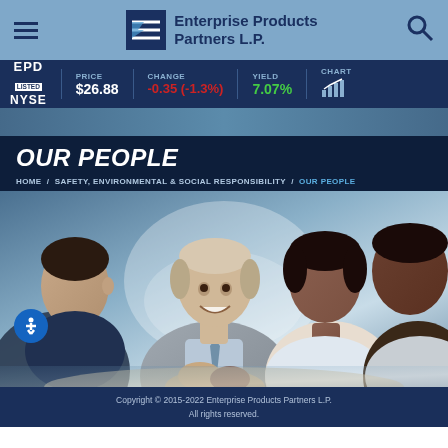Enterprise Products Partners L.P.
EPD LISTED NYSE | PRICE $26.88 | CHANGE -0.35 (-1.3%) | YIELD 7.07% | CHART
OUR PEOPLE
HOME / SAFETY, ENVIRONMENTAL & SOCIAL RESPONSIBILITY / OUR PEOPLE
[Figure (photo): Business professionals shaking hands and meeting around a table, including an older man in suit smiling, a younger man, and two women]
Copyright © 2015-2022 Enterprise Products Partners L.P. All rights reserved.